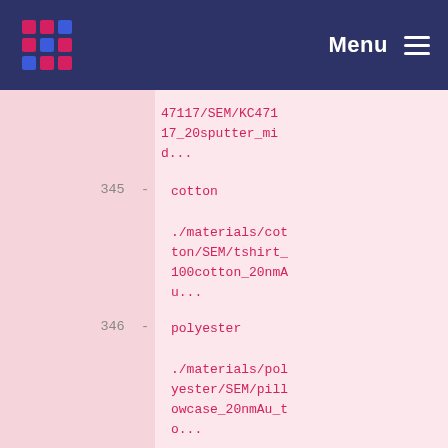Menu
| index | type | label | path |
| --- | --- | --- | --- |
|  |  |  | 47117/SEM/KC47117_20sputter_mid... |
| 345 | - | cotton | ./materials/cotton/SEM/tshirt_100cotton_20nmAu... |
| 346 | - | polyester | ./materials/polyester/SEM/pillowcase_20nmAu_to... |
| 347 | - | tyvek | ./materials/tyvek/SEM/tyvek_20nmAu_top_0005_r... |